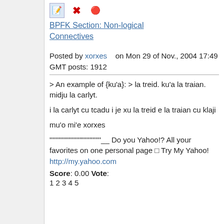[Figure (other): Three small toolbar icons: edit (notepad with pencil), delete (red X), and a red dot/arrow icon]
BPFK Section: Non-logical Connectives
Posted by xorxes on Mon 29 of Nov., 2004 17:49 GMT posts: 1912
> An example of {ku'a}: > la treid. ku'a la traian. midju la carlyt.
i la carlyt cu tcadu i je xu la treid e la traian cu klaji
mu'o mi'e xorxes
''''''''''''''''''''''''''''''''''''__ Do you Yahoo!? All your favorites on one personal page  Try My Yahoo! http://my.yahoo.com
Score: 0.00 Vote: 1 2 3 4 5